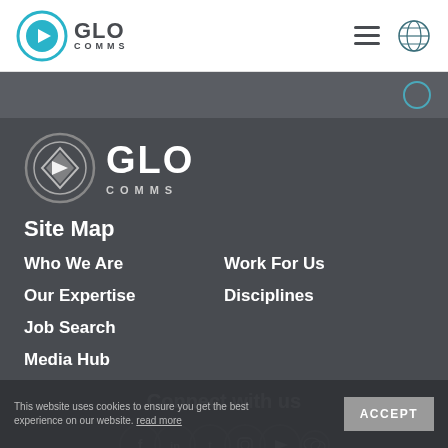GLO COMMS - Navigation bar with hamburger menu and globe icon
[Figure (logo): GLO COMMS logo in footer - grey circle with diamond arrow icon, GLO text large, COMMS text smaller below]
Site Map
Who We Are
Work For Us
Our Expertise
Disciplines
Job Search
Media Hub
Connect with us
[Figure (infographic): Social media icons row: Facebook, LinkedIn, Twitter, Instagram, YouTube, WeChat - all in circular outlines]
This website uses cookies to ensure you get the best experience on our website. read more
ACCEPT